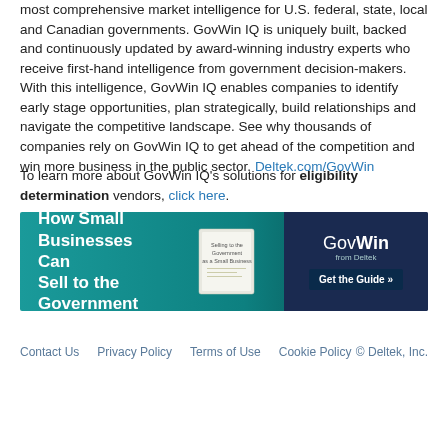most comprehensive market intelligence for U.S. federal, state, local and Canadian governments. GovWin IQ is uniquely built, backed and continuously updated by award-winning industry experts who receive first-hand intelligence from government decision-makers. With this intelligence, GovWin IQ enables companies to identify early stage opportunities, plan strategically, build relationships and navigate the competitive landscape. See why thousands of companies rely on GovWin IQ to get ahead of the competition and win more business in the public sector. Deltek.com/GovWin
To learn more about GovWin IQ's solutions for eligibility determination vendors, click here.
[Figure (infographic): GovWin from Deltek promotional banner: 'How Small Businesses Can Sell to the Government' with a guide book image and 'Get the Guide >>' button]
Contact Us   Privacy Policy   Terms of Use   Cookie Policy   © Deltek, Inc.